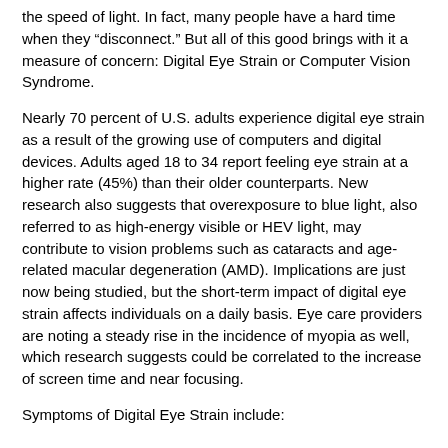the speed of light. In fact, many people have a hard time when they “disconnect.” But all of this good brings with it a measure of concern: Digital Eye Strain or Computer Vision Syndrome.
Nearly 70 percent of U.S. adults experience digital eye strain as a result of the growing use of computers and digital devices. Adults aged 18 to 34 report feeling eye strain at a higher rate (45%) than their older counterparts. New research also suggests that overexposure to blue light, also referred to as high-energy visible or HEV light, may contribute to vision problems such as cataracts and age-related macular degeneration (AMD). Implications are just now being studied, but the short-term impact of digital eye strain affects individuals on a daily basis. Eye care providers are noting a steady rise in the incidence of myopia as well, which research suggests could be correlated to the increase of screen time and near focusing.
Symptoms of Digital Eye Strain include:
Headaches
Blurred or double vision